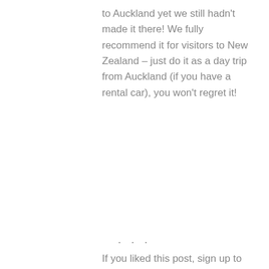to Auckland yet we still hadn't made it there! We fully recommend it for visitors to New Zealand – just do it as a day trip from Auckland (if you have a rental car), you won't regret it!
· · ·
If you liked this post, sign up to receive